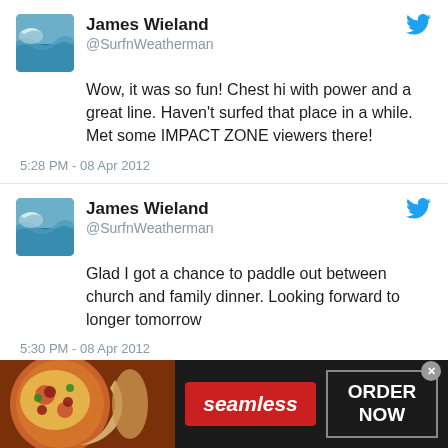[Figure (screenshot): Tweet from James Wieland (@SurfnWeatherman): Wow, it was so fun! Chest hi with power and a great line. Haven't surfed that place in a while. Met some IMPACT ZONE viewers there! 5:28 PM - 08 Apr 2012]
[Figure (screenshot): Tweet from James Wieland (@SurfnWeatherman): Glad I got a chance to paddle out between church and family dinner. Looking forward to longer tomorrow. 5:30 PM - 08 Apr 2012]
[Figure (photo): Seamless food delivery advertisement banner with pizza image, Seamless logo, and ORDER NOW button]